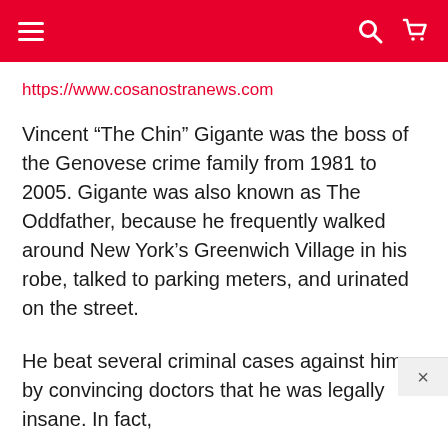https://www.cosanostranews.com
Vincent “The Chin” Gigante was the boss of the Genovese crime family from 1981 to 2005. Gigante was also known as The Oddfather, because he frequently walked around New York’s Greenwich Village in his robe, talked to parking meters, and urinated on the street.
He beat several criminal cases against him by convincing doctors that he was legally insane. In fact,